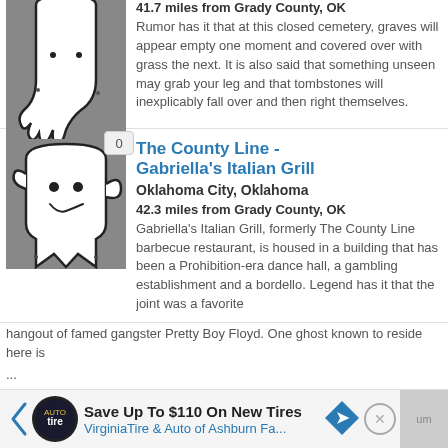[Figure (illustration): Ghost/spirit illustration with dripping effect on gray background]
41.7 miles from Grady County, OK
Rumor has it that at this closed cemetery, graves will appear empty one moment and covered over with grass the next. It is also said that something unseen may grab your leg and that tombstones will inexplicably fall over and then right themselves.
[Figure (illustration): Friendly ghost illustration on gray background with badge showing 0]
The County Line - Gabriella's Italian Grill
Oklahoma City, Oklahoma
42.3 miles from Grady County, OK
Gabriella's Italian Grill, formerly The County Line barbecue restaurant, is housed in a building that has been a Prohibition-era dance hall, a gambling establishment and a bordello. Legend has it that the joint was a favorite hangout of famed gangster Pretty Boy Floyd. One ghost known to reside here is ...
[Figure (infographic): Advertisement bar: Save Up To $110 On New Tires - VirginiaTire & Auto of Ashburn Fa.]